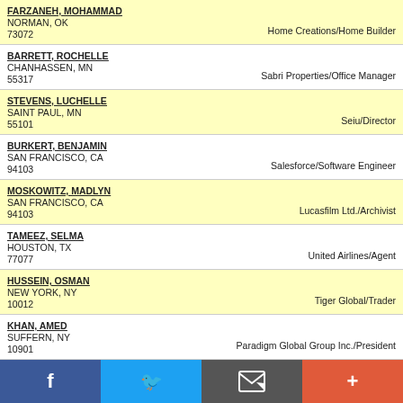FARZANEH, MOHAMMAD
NORMAN, OK
73072
Home Creations/Home Builder
BARRETT, ROCHELLE
CHANHASSEN, MN
55317
Sabri Properties/Office Manager
STEVENS, LUCHELLE
SAINT PAUL, MN
55101
Seiu/Director
BURKERT, BENJAMIN
SAN FRANCISCO, CA
94103
Salesforce/Software Engineer
MOSKOWITZ, MADLYN
SAN FRANCISCO, CA
94103
Lucasfilm Ltd./Archivist
TAMEEZ, SELMA
HOUSTON, TX
77077
United Airlines/Agent
HUSSEIN, OSMAN
NEW YORK, NY
10012
Tiger Global/Trader
KHAN, AMED
SUFFERN, NY
10901
Paradigm Global Group Inc./President
JAVED, MOHAMMAD SHAHID